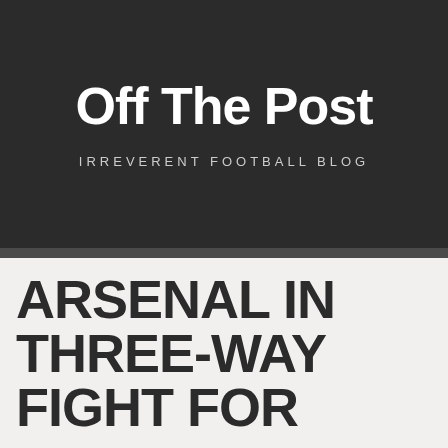Off The Post
IRREVERENT FOOTBALL BLOG
ARSENAL IN THREE-WAY FIGHT FOR